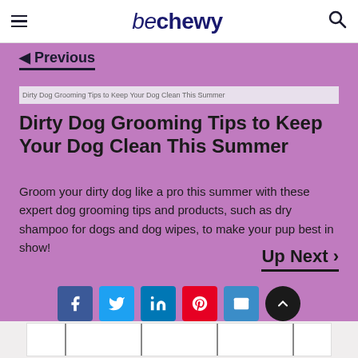be chewy
◀ Previous
[Figure (photo): Article thumbnail image placeholder for 'Dirty Dog Grooming Tips to Keep Your Dog Clean This Summer']
Dirty Dog Grooming Tips to Keep Your Dog Clean This Summer
Groom your dirty dog like a pro this summer with these expert dog grooming tips and products, such as dry shampoo for dogs and dog wipes, to make your pup best in show!
Up Next ›
[Figure (other): Social sharing buttons: Facebook, Twitter, LinkedIn, Pinterest, Email, and scroll-to-top button]